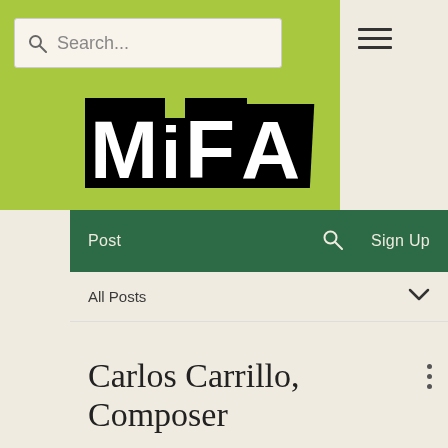[Figure (logo): MIFA logo — black bold stylized letters M, i, F, A on green background]
Search...
Post  🔍  Sign Up
All Posts
Carlos Carrillo, Composer